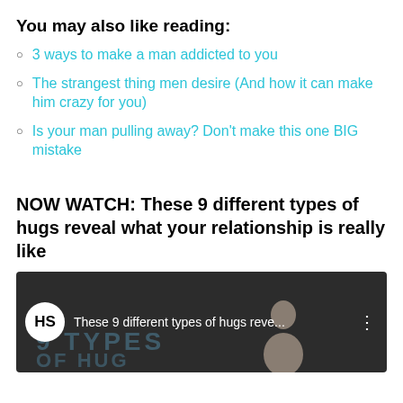You may also like reading:
3 ways to make a man addicted to you
The strangest thing men desire (And how it can make him crazy for you)
Is your man pulling away? Don't make this one BIG mistake
NOW WATCH: These 9 different types of hugs reveal what your relationship is really like
[Figure (screenshot): Video thumbnail showing HS logo, title 'These 9 different types of hugs reve...' and partial background image with text 'TYPES' and silhouette of a person]